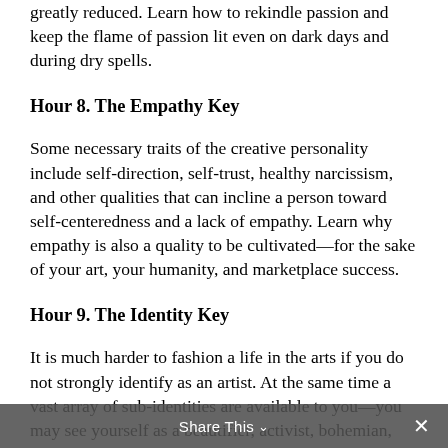greatly reduced. Learn how to rekindle passion and keep the flame of passion lit even on dark days and during dry spells.
Hour 8. The Empathy Key
Some necessary traits of the creative personality include self-direction, self-trust, healthy narcissism, and other qualities that can incline a person toward self-centeredness and a lack of empathy. Learn why empathy is also a quality to be cultivated—for the sake of your art, your humanity, and marketplace success.
Hour 9. The Identity Key
It is much harder to fashion a life in the arts if you do not strongly identify as an artist. At the same time a vast array of sub-identities are available to you—you may see yourself as a beautifier, activist, bohemian, problem-solver, shaman, and so on. Learn how this intricate issue of identity vexes artists—and what you can do to secure the identity that best serves you.